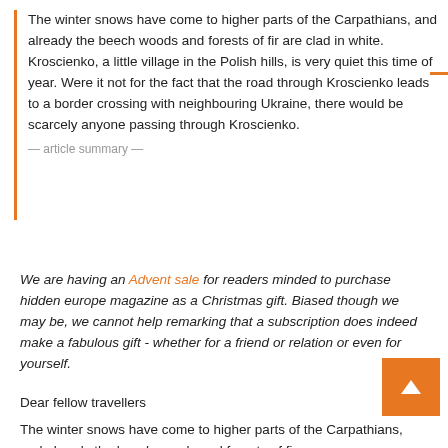The winter snows have come to higher parts of the Carpathians, and already the beech woods and forests of fir are clad in white. Kroscienko, a little village in the Polish hills, is very quiet this time of year. Were it not for the fact that the road through Kroscienko leads to a border crossing with neighbouring Ukraine, there would be scarcely anyone passing through Kroscienko.
— article summary —
We are having an Advent sale for readers minded to purchase hidden europe magazine as a Christmas gift. Biased though we may be, we cannot help remarking that a subscription does indeed make a fabulous gift - whether for a friend or relation or even for yourself.
Dear fellow travellers
The winter snows have come to higher parts of the Carpathians, and already the beech woods and forests of fir